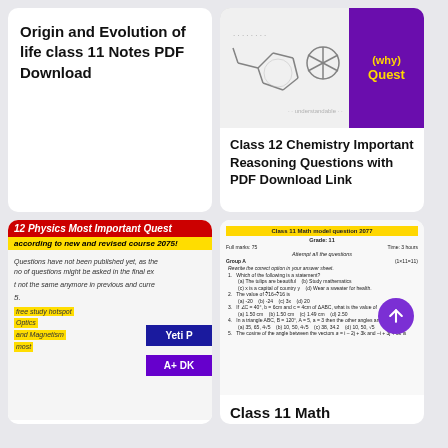Origin and Evolution of life class 11 Notes PDF Download
[Figure (screenshot): Thumbnail showing chemistry molecular diagrams and a purple banner with yellow text '(why) Quest']
Class 12 Chemistry Important Reasoning Questions with PDF Download Link
[Figure (screenshot): Thumbnail showing Class 12 Physics Most Important Questions banner with yellow highlighted text and Yeti P and A+ DK logos]
Class 12 physics most
[Figure (screenshot): Thumbnail showing Class 11 Math model question 2077 paper]
Class 11 Math model question 2078 with Solution PDF Download